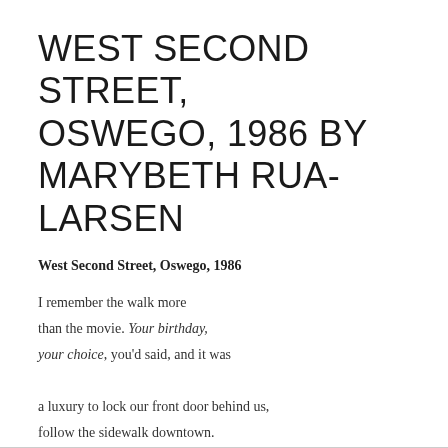WEST SECOND STREET, OSWEGO, 1986 BY MARYBETH RUA-LARSEN
West Second Street, Oswego, 1986
I remember the walk more
than the movie. Your birthday,
your choice, you'd said, and it was

a luxury to lock our front door behind us,
follow the sidewalk downtown.
We stopped first at the river,